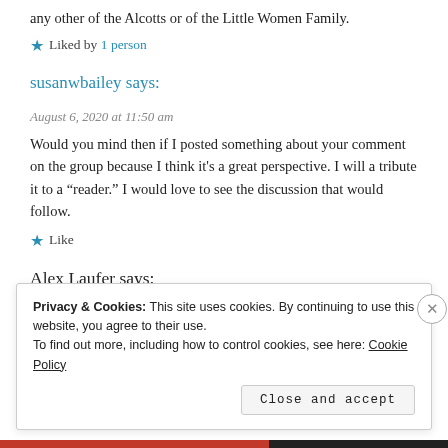any other of the Alcotts or of the Little Women Family.
★ Liked by 1 person
susanwbailey says:
August 6, 2020 at 11:50 am
Would you mind then if I posted something about your comment on the group because I think it's a great perspective. I will a tribute it to a "reader." I would love to see the discussion that would follow.
★ Like
Alex Laufer says:
August 6, 2020 at 3:44 pm
Privacy & Cookies: This site uses cookies. By continuing to use this website, you agree to their use.
To find out more, including how to control cookies, see here: Cookie Policy
Close and accept